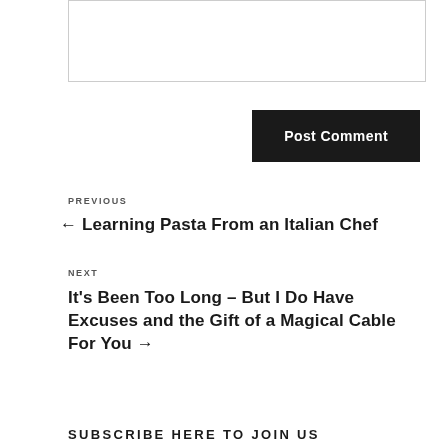[comment text area]
Post Comment
PREVIOUS
← Learning Pasta From an Italian Chef
NEXT
It's Been Too Long – But I Do Have Excuses and the Gift of a Magical Cable For You →
SUBSCRIBE HERE TO JOIN US